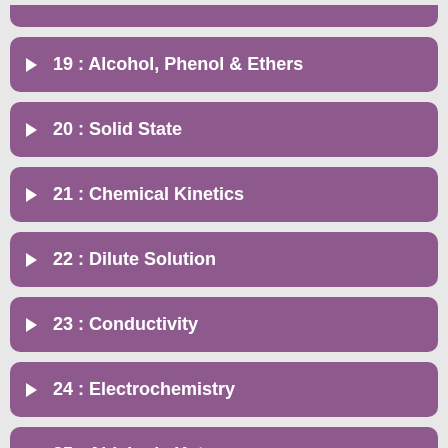19 : Alcohol, Phenol & Ethers
20 : Solid State
21 : Chemical Kinetics
22 : Dilute Solution
23 : Conductivity
24 : Electrochemistry
25 : Aldehyde Ketone